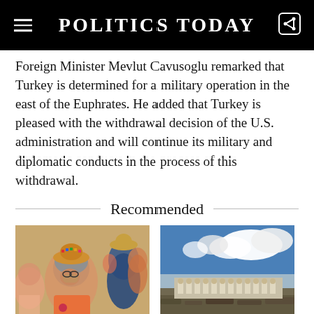POLITICS TODAY
Foreign Minister Mevlut Cavusoglu remarked that Turkey is determined for a military operation in the east of the Euphrates. He added that Turkey is pleased with the withdrawal decision of the U.S. administration and will continue its military and diplomatic conducts in the process of this withdrawal.
Recommended
[Figure (photo): Group of people outdoors; a woman in a beaded hat in the foreground appears emotional.]
WORLD | NADA SHAKIR
[Figure (photo): Aerial or distant view of a building with arches under a dramatic cloudy sky.]
OPINION | YOUSEF M. ALJAMAL